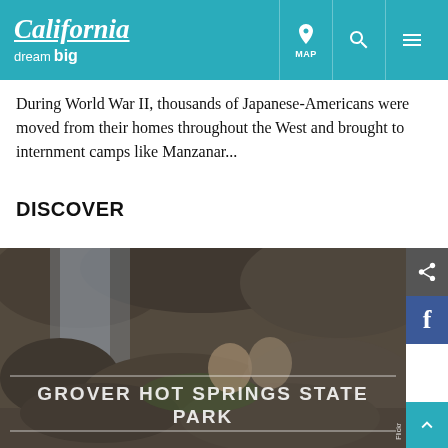California dream big | MAP
During World War II, thousands of Japanese-Americans were moved from their homes throughout the West and brought to internment camps like Manzanar...
DISCOVER
[Figure (photo): Photo of two children sitting on rocks near a waterfall at Grover Hot Springs State Park, with overlaid text reading GROVER HOT SPRINGS STATE PARK]
GROVER HOT SPRINGS STATE PARK